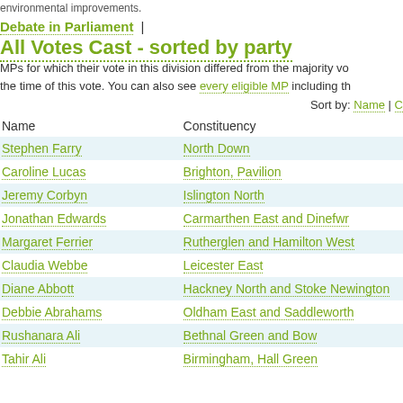environmental improvements.
Debate in Parliament |
All Votes Cast - sorted by party
MPs for which their vote in this division differed from the majority vo... the time of this vote. You can also see every eligible MP including th...
Sort by: Name | C
| Name | Constituency |
| --- | --- |
| Stephen Farry | North Down |
| Caroline Lucas | Brighton, Pavilion |
| Jeremy Corbyn | Islington North |
| Jonathan Edwards | Carmarthen East and Dinefwr |
| Margaret Ferrier | Rutherglen and Hamilton West |
| Claudia Webbe | Leicester East |
| Diane Abbott | Hackney North and Stoke Newington |
| Debbie Abrahams | Oldham East and Saddleworth |
| Rushanara Ali | Bethnal Green and Bow |
| Tahir Ali | Birmingham, Hall Green |